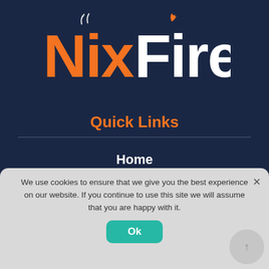[Figure (logo): NixFire logo with orange 'Nix' text and white 'Fire' text, flame icon above the 'i' in Fire, smoke wisps above the 'N' in Nix]
Quick Links
Home
Shop
Fireplaces
Stoves
Electric
Grills
We use cookies to ensure that we give you the best experience on our website. If you continue to use this site we will assume that you are happy with it.
Ok